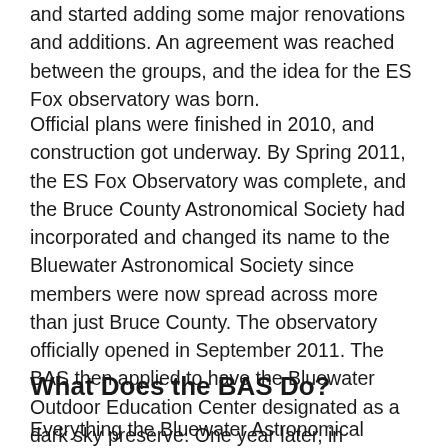and started adding some major renovations and additions. An agreement was reached between the groups, and the idea for the ES Fox observatory was born.
Official plans were finished in 2010, and construction got underway. By Spring 2011, the ES Fox Observatory was complete, and the Bruce County Astronomical Society had incorporated and changed its name to the Bluewater Astronomical Society since members were now spread across more than just Bruce County. The observatory officially opened in September 2011. The BAS then applied to have the Bluewater Outdoor Education Center designated as a dark sky preserve. One year later, in November of 2012, the application was approved, and the Bluewater Outdoor Education Center became Canada's 15th dark sky preserve.
What Does the BAS Do?
Everything the Bluewater Astronomical Society does is